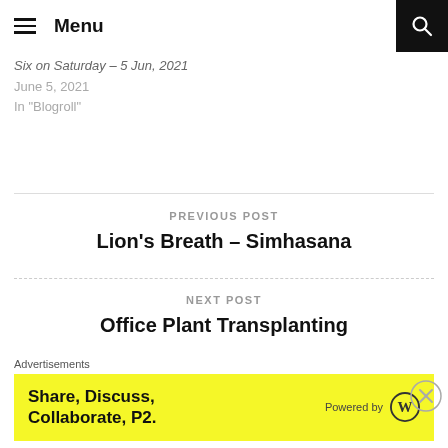Menu
Six on Saturday – 5 Jun, 2021
June 5, 2021
In "Blogroll"
PREVIOUS POST
Lion's Breath – Simhasana
NEXT POST
Office Plant Transplanting
Advertisements
Share, Discuss, Collaborate, P2.
Powered by